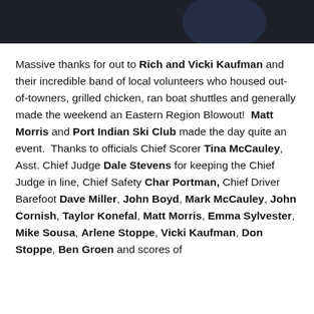[Figure (photo): Dark photo bar at top of page, appears to show a person partially visible]
Massive thanks for out to Rich and Vicki Kaufman and their incredible band of local volunteers who housed out-of-towners, grilled chicken, ran boat shuttles and generally made the weekend an Eastern Region Blowout!  Matt Morris and Port Indian Ski Club made the day quite an event.  Thanks to officials Chief Scorer Tina McCauley, Asst. Chief Judge Dale Stevens for keeping the Chief Judge in line, Chief Safety Char Portman, Chief Driver Barefoot Dave Miller, John Boyd, Mark McCauley, John Cornish, Taylor Konefal, Matt Morris, Emma Sylvester, Mike Sousa, Arlene Stoppe, Vicki Kaufman, Don Stoppe, Ben Groen and scores of